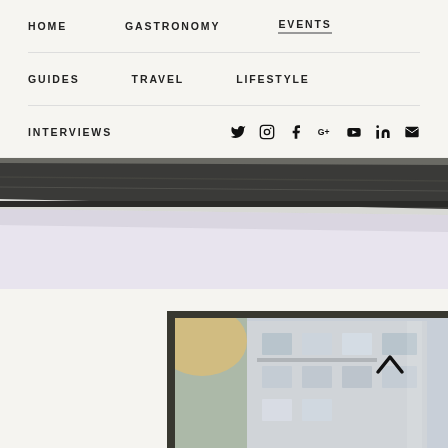HOME  GASTRONOMY  EVENTS  GUIDES  TRAVEL  LIFESTYLE  INTERVIEWS
[Figure (photo): Close-up photo of a dark metallic window/door frame edge against a light background, showing industrial or architectural detail]
[Figure (photo): Photo of a city street viewed through a window frame, showing buildings with balconies in an urban setting, with warm light effects]